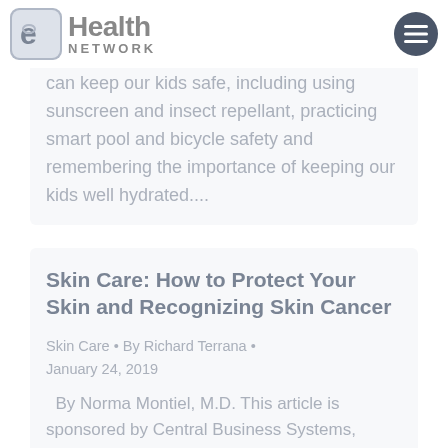eHealth Network
can keep our kids safe, including using sunscreen and insect repellant, practicing smart pool and bicycle safety and remembering the importance of keeping our kids well hydrated....
Skin Care: How to Protect Your Skin and Recognizing Skin Cancer
Skin Care • By Richard Terrana • January 24, 2019
By Norma Montiel, M.D. This article is sponsored by Central Business Systems, visit their website at Central Business...